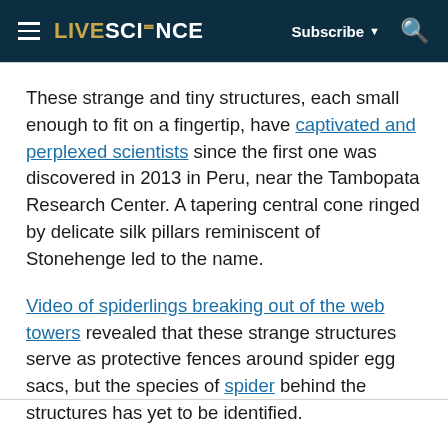LIVESCIENCE — Subscribe ▼ [Search]
These strange and tiny structures, each small enough to fit on a fingertip, have captivated and perplexed scientists since the first one was discovered in 2013 in Peru, near the Tambopata Research Center. A tapering central cone ringed by delicate silk pillars reminiscent of Stonehenge led to the name.
Video of spiderlings breaking out of the web towers revealed that these strange structures serve as protective fences around spider egg sacs, but the species of spider behind the structures has yet to be identified.